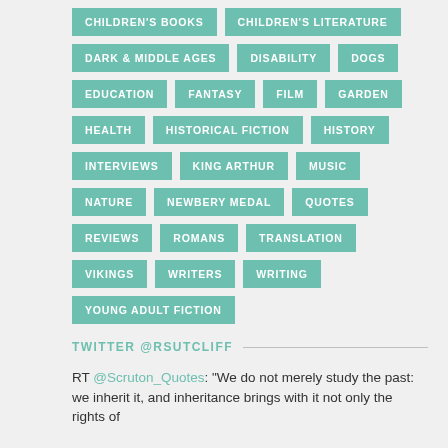CHILDREN'S BOOKS
CHILDREN'S LITERATURE
DARK & MIDDLE AGES
DISABILITY
DOGS
EDUCATION
FANTASY
FILM
GARDEN
HEALTH
HISTORICAL FICTION
HISTORY
INTERVIEWS
KING ARTHUR
MUSIC
NATURE
NEWBERY MEDAL
QUOTES
REVIEWS
ROMANS
TRANSLATION
VIKINGS
WRITERS
WRITING
YOUNG ADULT FICTION
TWITTER @RSUTCLIFF
RT @Scruton_Quotes: "We do not merely study the past: we inherit it, and inheritance brings with it not only the rights of